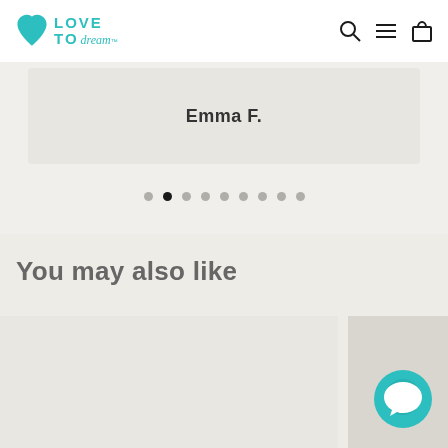[Figure (logo): Love To Dream logo with teal heart icon and stylized text]
[Figure (other): Navigation icons: search, hamburger menu, shopping bag]
Emma F.
[Figure (other): Carousel pagination dots, 9 total, second dot active]
You may also like
[Figure (other): Product image placeholder left]
[Figure (other): Product image placeholder right]
[Figure (other): Teal chat support bubble icon bottom right]